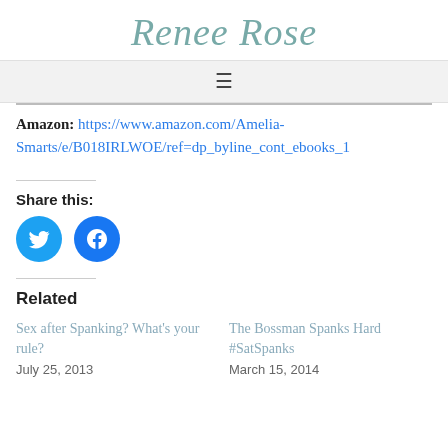Renee Rose
Amazon: https://www.amazon.com/Amelia-Smarts/e/B018IRLWOE/ref=dp_byline_cont_ebooks_1
Share this:
[Figure (other): Twitter and Facebook share icon buttons]
Related
Sex after Spanking? What's your rule?
July 25, 2013
The Bossman Spanks Hard #SatSpanks
March 15, 2014